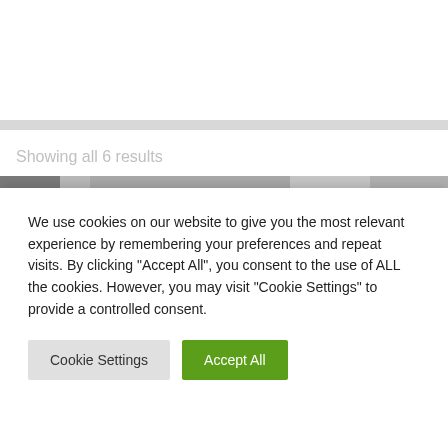Showing all 6 results
[Figure (photo): Product image strip showing a close-up of a textured gray/silver surface]
We use cookies on our website to give you the most relevant experience by remembering your preferences and repeat visits. By clicking “Accept All”, you consent to the use of ALL the cookies. However, you may visit "Cookie Settings" to provide a controlled consent.